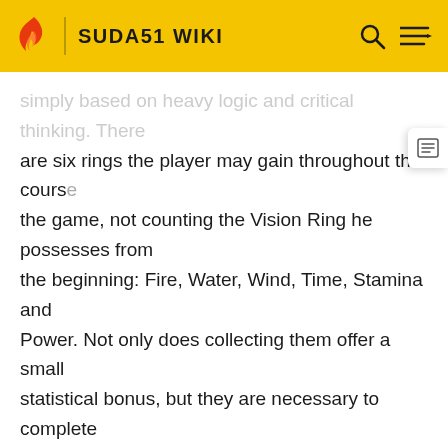SUDA51 WIKI
simply based on heavy logic and critical thinking. There are six rings the player may gain throughout the course of the game, not counting the Vision Ring he possesses from the beginning: Fire, Water, Wind, Time, Stamina and Power. Not only does collecting them offer a small statistical bonus, but they are necessary to complete certain puzzles and progress. When the player successfully completes a puzzle, he is given an audio cue consisting of a relaxed guitar twang; if, however, he attempts a puzzle that he is not yet equipped to solve, he is greeted with the same sound with the jarring sound of someone dragging their fingers all the way up the fret board. Items necessary for the completion of puzzles are automatically used for the player if they are in his